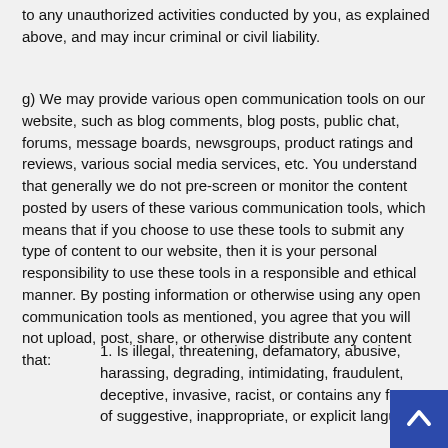to any unauthorized activities conducted by you, as explained above, and may incur criminal or civil liability.
g) We may provide various open communication tools on our website, such as blog comments, blog posts, public chat, forums, message boards, newsgroups, product ratings and reviews, various social media services, etc. You understand that generally we do not pre-screen or monitor the content posted by users of these various communication tools, which means that if you choose to use these tools to submit any type of content to our website, then it is your personal responsibility to use these tools in a responsible and ethical manner. By posting information or otherwise using any open communication tools as mentioned, you agree that you will not upload, post, share, or otherwise distribute any content that:
1. Is illegal, threatening, defamatory, abusive, harassing, degrading, intimidating, fraudulent, deceptive, invasive, racist, or contains any form of suggestive, inappropriate, or explicit language;